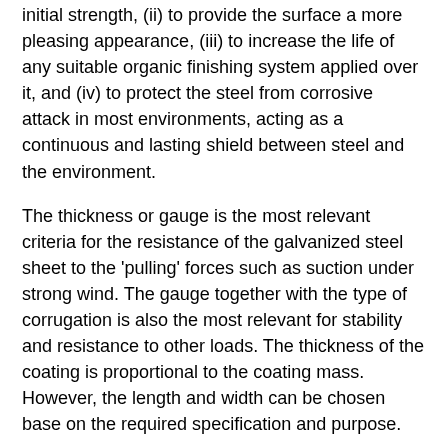initial strength, (ii) to provide the surface a more pleasing appearance, (iii) to increase the life of any suitable organic finishing system applied over it, and (iv) to protect the steel from corrosive attack in most environments, acting as a continuous and lasting shield between steel and the environment.
The thickness or gauge is the most relevant criteria for the resistance of the galvanized steel sheet to the 'pulling' forces such as suction under strong wind. The gauge together with the type of corrugation is also the most relevant for stability and resistance to other loads. The thickness of the coating is proportional to the coating mass. However, the length and width can be chosen base on the required specification and purpose.
The galvanized coating on the steel sheet consists of the steel core, with an inter-metallic alloy layer and outer zinc